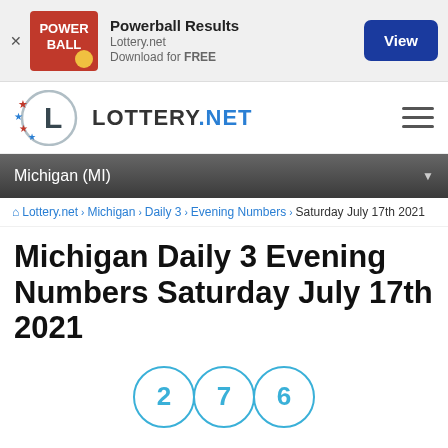[Figure (logo): Powerball advertisement banner with Powerball logo, lottery.net branding, and View button]
[Figure (logo): Lottery.net site header with logo (L in circle with stars) and hamburger menu]
Michigan (MI)
Lottery.net > Michigan > Daily 3 > Evening Numbers > Saturday July 17th 2021
Michigan Daily 3 Evening Numbers Saturday July 17th 2021
[Figure (infographic): Three lottery balls showing numbers 2, 7, 6 in circles with teal/blue border]